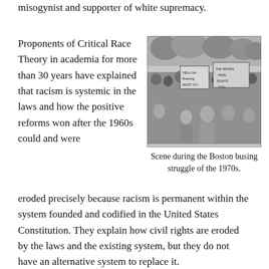misogynist and supporter of white supremacy.
Proponents of Critical Race Theory in academia for more than 30 years have explained that racism is systemic in the laws and how the positive reforms won after the 1960s could and were eroded precisely because racism is permanent within the system founded and codified in the United States Constitution. They explain how civil rights are eroded by the laws and the existing system, but they do not have an alternative system to replace it.
[Figure (photo): Black and white photograph of a large crowd during the Boston busing struggle of the 1970s. Protesters hold signs including 'HELL NO! Bussing MUST GO' and 'THE WHITES HAVE RIGHTS TOO!']
Scene during the Boston busing struggle of the 1970s.